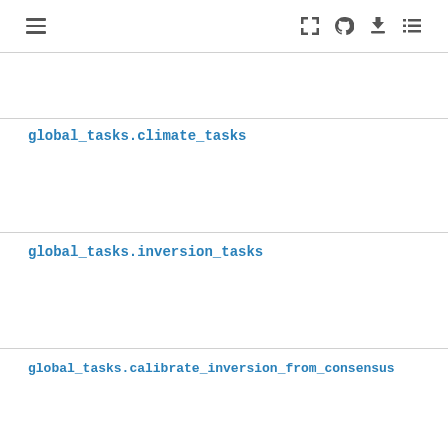≡  [icons: fullscreen, github, download, list]
global_tasks.climate_tasks
global_tasks.inversion_tasks
global_tasks.calibrate_inversion_from_consensus